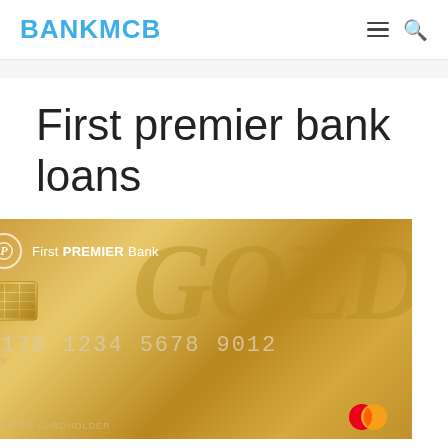BANKMCB
First premier bank loans
[Figure (photo): First PREMIER Bank Gold Mastercard credit card showing card number 5178 1234 5678 9012, EMV chip, and Mastercard logo on a gold background]